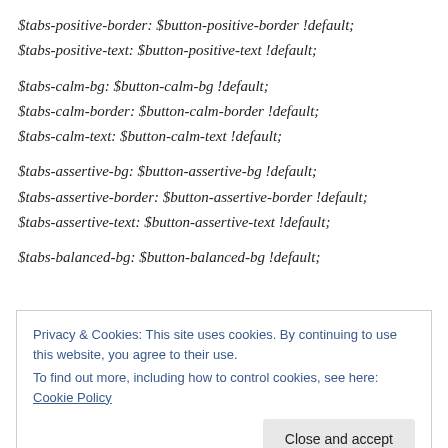$tabs-positive-border: $button-positive-border !default;
$tabs-positive-text: $button-positive-text !default;

$tabs-calm-bg: $button-calm-bg !default;
$tabs-calm-border: $button-calm-border !default;
$tabs-calm-text: $button-calm-text !default;

$tabs-assertive-bg: $button-assertive-bg !default;
$tabs-assertive-border: $button-assertive-border !default;
$tabs-assertive-text: $button-assertive-text !default;

$tabs-balanced-bg: $button-balanced-bg !default;
Privacy & Cookies: This site uses cookies. By continuing to use this website, you agree to their use.
To find out more, including how to control cookies, see here: Cookie Policy
!default;